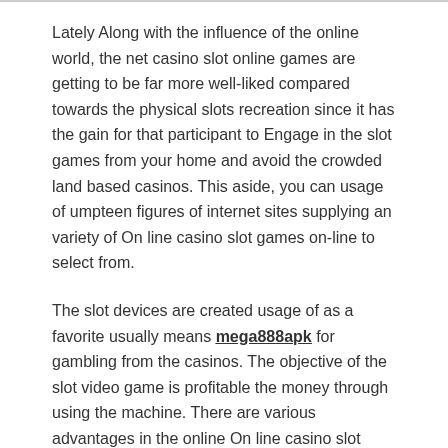Lately Along with the influence of the online world, the net casino slot online games are getting to be far more well-liked compared towards the physical slots recreation since it has the gain for that participant to Engage in the slot games from your home and avoid the crowded land based casinos. This aside, you can usage of umpteen figures of internet sites supplying an variety of On line casino slot games on-line to select from.
The slot devices are created usage of as a favorite usually means mega888apk for gambling from the casinos. The objective of the slot video game is profitable the money through using the machine. There are various advantages in the online On line casino slot games when put next to your slot video games in the Actual physical natural environment. If you're a whole new player, you can get to be aware of of the different tactics being adopted, quite a few tips which you can comply with though plating and the sport treatments which may be denied for